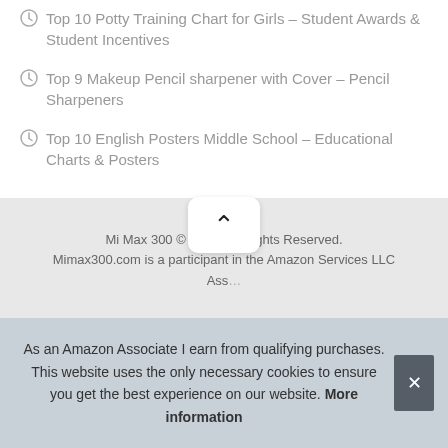Top 10 Potty Training Chart for Girls – Student Awards & Student Incentives
Top 9 Makeup Pencil sharpener with Cover – Pencil Sharpeners
Top 10 English Posters Middle School – Educational Charts & Posters
Mi Max 300 © 2022. All Rights Reserved. Mimax300.com is a participant in the Amazon Services LLC Ass...
As an Amazon Associate I earn from qualifying purchases. This website uses the only necessary cookies to ensure you get the best experience on our website. More information